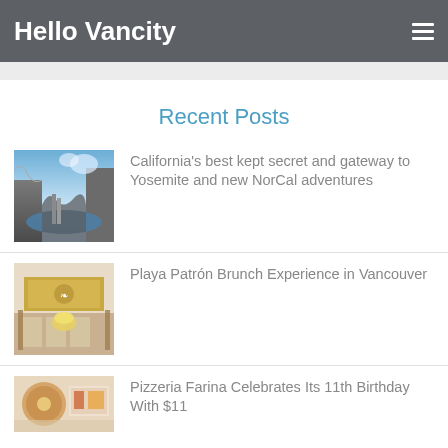Hello Vancity
Recent Posts
[Figure (photo): Mountain landscape with lake and stone steps]
California's best kept secret and gateway to Yosemite and new NorCal adventures
[Figure (photo): Elegant brunch table setting with gold banner and yellow flowers]
Playa Patrón Brunch Experience in Vancouver
[Figure (photo): Pizza and food items on a table]
Pizzeria Farina Celebrates Its 11th Birthday With $11